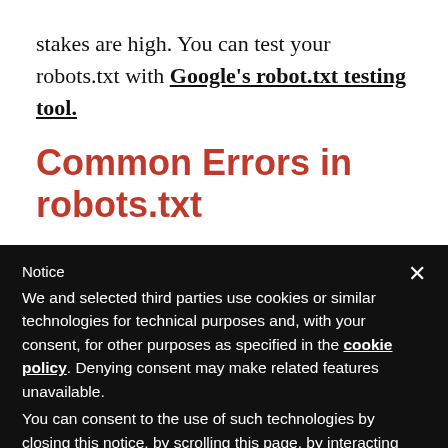stakes are high. You can test your robots.txt with Google's robot.txt testing tool.
Common Errors in robots.txt
Notice
We and selected third parties use cookies or similar technologies for technical purposes and, with your consent, for other purposes as specified in the cookie policy. Denying consent may make related features unavailable.
You can consent to the use of such technologies by closing this notice, by scrolling this page, by interacting with any link or button outside of this notice or by continuing to browse otherwise.